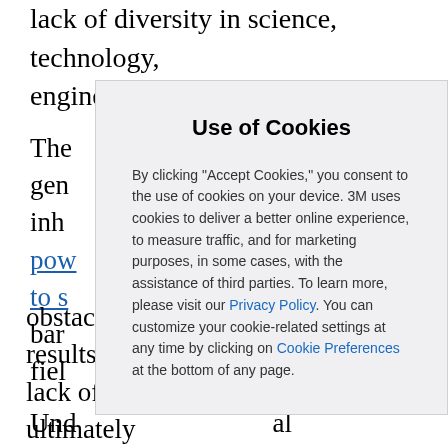lack of diversity in science, technology, engineering, and math (STEM).
The... generation... that inhibit... poverty... link to s... barriers... field...
Under... change... are... it's... STEM... obstacle to access STEM education results in a lack of higher quality education, and ultimately
[Figure (screenshot): Cookie consent modal dialog with title 'Use of Cookies' and body text explaining cookie usage policy with links to Privacy Policy and Cookie Preferences.]